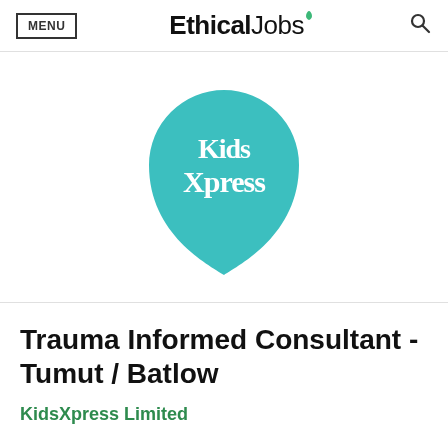MENU | EthicalJobs | [search icon]
[Figure (logo): KidsXpress logo — teal teardrop/speech-bubble shape with white handwritten 'KidsXpress' text inside]
Trauma Informed Consultant - Tumut / Batlow
KidsXpress Limited